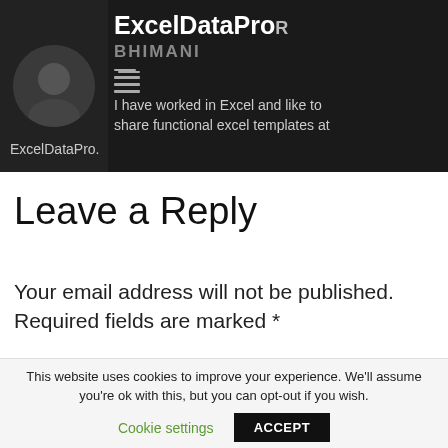ExcelDataPro R BHIMANI — I have worked in Excel and like to share functional excel templates at ExcelDataPro.
Leave a Reply
Your email address will not be published. Required fields are marked *
This website uses cookies to improve your experience. We'll assume you're ok with this, but you can opt-out if you wish.
Cookie settings   ACCEPT